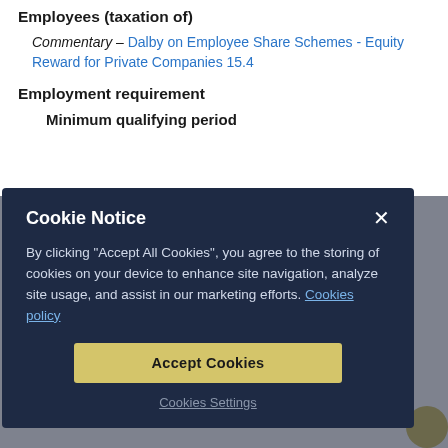Employees (taxation of)
Commentary – Dalby on Employee Share Schemes - Equity Reward for Private Companies 15.4
Employment requirement
Minimum qualifying period
Cookie Notice

By clicking "Accept All Cookies", you agree to the storing of cookies on your device to enhance site navigation, analyze site usage, and assist in our marketing efforts. Cookies policy

Accept Cookies

Cookies Settings